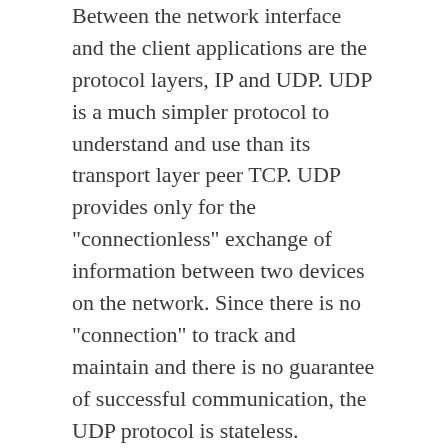Between the network interface and the client applications are the protocol layers, IP and UDP. UDP is a much simpler protocol to understand and use than its transport layer peer TCP. UDP provides only for the "connectionless" exchange of information between two devices on the network. Since there is no "connection" to track and maintain and there is no guarantee of successful communication, the UDP protocol is stateless.
The implementation of the IP protocol layer, on the other hand, can get complicated very quickly. The more features you add the more you need to research and understand the best implementation techniques invented. But it's possible to exclude several IP features found in a